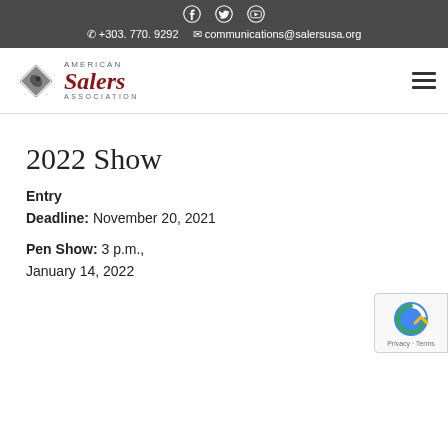Social icons: Facebook, Twitter, YouTube
+303. 770. 9292  communications@salersusa.org
[Figure (logo): American Salers Association logo with diamond-shaped cattle graphic and stylized text]
2022 Show
Entry Deadline: November 20, 2021
Pen Show: 3 p.m., January 14, 2022